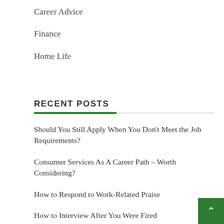Career Advice
Finance
Home Life
RECENT POSTS
Should You Still Apply When You Don't Meet the Job Requirements?
Consumer Services As A Career Path – Worth Considering?
How to Respond to Work-Related Praise
How to Interview After You Were Fired
What Is Practical Leadership? Tips for Leaders